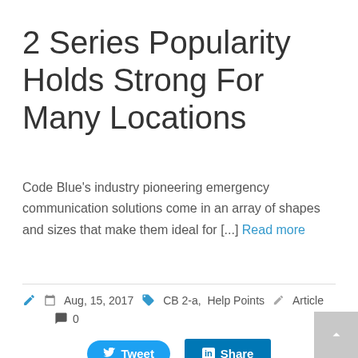2 Series Popularity Holds Strong For Many Locations
Code Blue’s industry pioneering emergency communication solutions come in an array of shapes and sizes that make them ideal for [...] Read more
Aug, 15, 2017   CB 2-a,  Help Points   Article
0